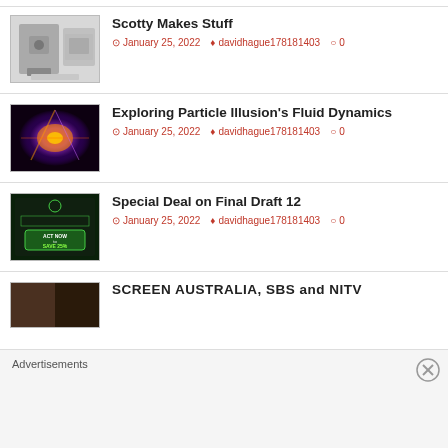[Figure (photo): Thumbnail image for Scotty Makes Stuff post - camera/gimbal equipment]
Scotty Makes Stuff
January 25, 2022   davidhague178181403   0
[Figure (photo): Thumbnail image for Exploring Particle Illusion post - glowing particle explosion]
Exploring Particle Illusion's Fluid Dynamics
January 25, 2022   davidhague178181403   0
[Figure (photo): Thumbnail image for Special Deal on Final Draft 12 - green ACT NOW SAVE 25% banner]
Special Deal on Final Draft 12
January 25, 2022   davidhague178181403   0
[Figure (photo): Partial thumbnail for SCREEN AUSTRALIA, SBS and NITV post]
SCREEN AUSTRALIA, SBS and NITV
Advertisements